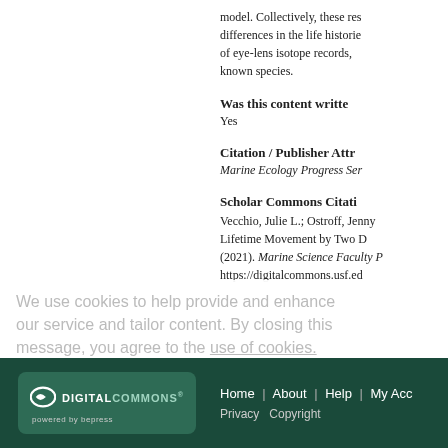model. Collectively, these res differences in the life historie of eye-lens isotope records, known species.
Was this content written
Yes
Citation / Publisher Attr
Marine Ecology Progress Ser
Scholar Commons Citati
Vecchio, Julie L.; Ostroff, Jenny; Lifetime Movement by Two D (2021). Marine Science Faculty P https://digitalcommons.usf.ed
We use cookies to help provide and enhance our service and tailor content. By closing this message, you agree to the use of cookies.
Home | About | Help | My Acco Privacy Copyright